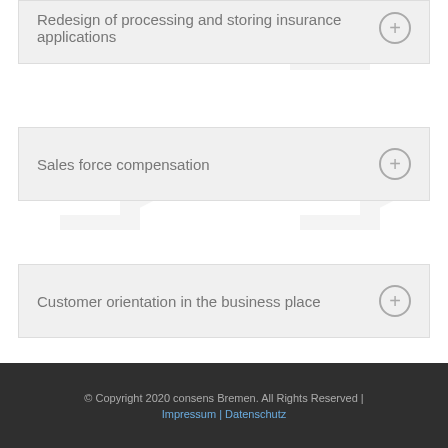Redesign of processing and storing insurance applications
Sales force compensation
Customer orientation in the business place
© Copyright 2020 consens Bremen. All Rights Reserved | Impressum | Datenschutz